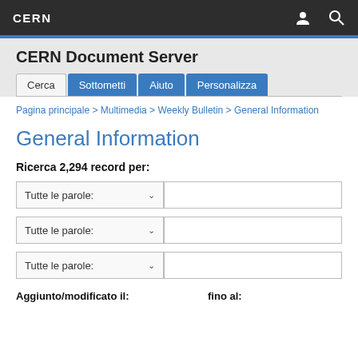CERN
CERN Document Server
Cerca | Sottometti | Aiuto | Personalizza
Pagina principale > Multimedia > Weekly Bulletin > General Information
General Information
Ricerca 2,294 record per:
Tutte le parole: [dropdown] [input field]
Tutte le parole: [dropdown] [input field]
Tutte le parole: [dropdown] [input field]
Aggiunto/modificato il:   fino al: